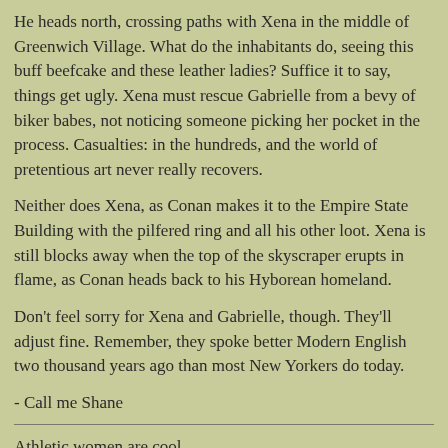He heads north, crossing paths with Xena in the middle of Greenwich Village. What do the inhabitants do, seeing this buff beefcake and these leather ladies? Suffice it to say, things get ugly. Xena must rescue Gabrielle from a bevy of biker babes, not noticing someone picking her pocket in the process. Casualties: in the hundreds, and the world of pretentious art never really recovers.
Neither does Xena, as Conan makes it to the Empire State Building with the pilfered ring and all his other loot. Xena is still blocks away when the top of the skyscraper erupts in flame, as Conan heads back to his Hyborean homeland.
Don't feel sorry for Xena and Gabrielle, though. They'll adjust fine. Remember, they spoke better Modern English two thousand years ago than most New Yorkers do today.
- Call me Shane
Athletic women are cool.
Attractive athletic women are really cool.
Attractive athletic women with swords are incredibly cool.